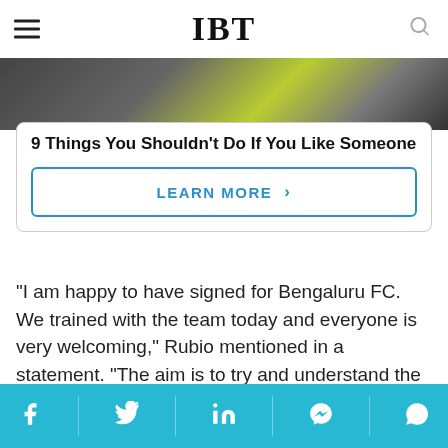IBT
[Figure (photo): Partial photo of person wearing yellow/lime green outfit against dark background]
9 Things You Shouldn't Do If You Like Someone
LEARN MORE >
"I am happy to have signed for Bengaluru FC. We trained with the team today and everyone is very welcoming," Rubio mentioned in a statement. "The aim is to try and understand the systems as soon as possible and I would like to use my experience to help the team to success," the midfielder added.
[Figure (infographic): Social sharing bar with icons for Facebook, Twitter, LinkedIn, Messenger, WhatsApp on cyan background]